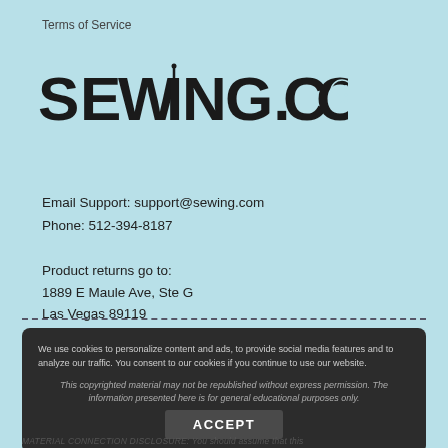Terms of Service
[Figure (logo): SEWING.COM logo in large bold black text with needle graphic in the I and button graphic in the O]
Email Support: support@sewing.com
Phone: 512-394-8187
Product returns go to:
1889 E Maule Ave, Ste G
Las Vegas 89119
We use cookies to personalize content and ads, to provide social media features and to analyze our traffic. You consent to our cookies if you continue to use our website.
ACCEPT
This copyrighted material may not be republished without express permission. The information presented here is for general educational purposes only.
MATERIAL CONNECTION DISCLOSURE: You should assume that this